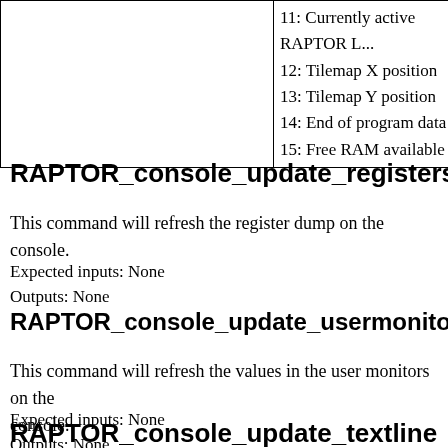|  | 11: Currently active RAPTOR L...
12: Tilemap X position
13: Tilemap Y position
14: End of program data
15: Free RAM available |
RAPTOR_console_update_registers
This command will refresh the register dump on the console.
Expected inputs: None
Outputs: None
RAPTOR_console_update_usermonitors
This command will refresh the values in the user monitors on the console.
Expected inputs: None
Outputs: None
RAPTOR_console_update_textline